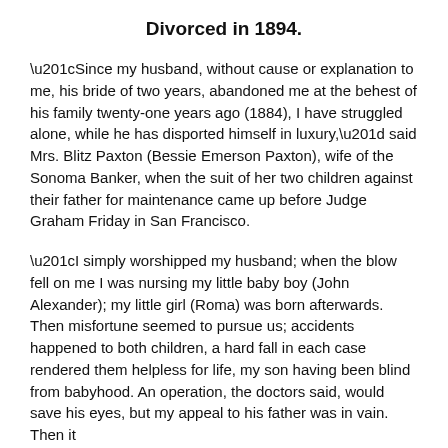Divorced in 1894.
“Since my husband, without cause or explanation to me, his bride of two years, abandoned me at the behest of his family twenty-one years ago (1884), I have struggled alone, while he has disported himself in luxury,” said Mrs. Blitz Paxton (Bessie Emerson Paxton), wife of the Sonoma Banker, when the suit of her two children against their father for maintenance came up before Judge Graham Friday in San Francisco.
“I simply worshipped my husband; when the blow fell on me I was nursing my little baby boy (John Alexander); my little girl (Roma) was born afterwards. Then misfortune seemed to pursue us; accidents happened to both children, a hard fall in each case rendered them helpless for life, my son having been blind from babyhood. An operation, the doctors said, would save his eyes, but my appeal to his father was in vain. Then it